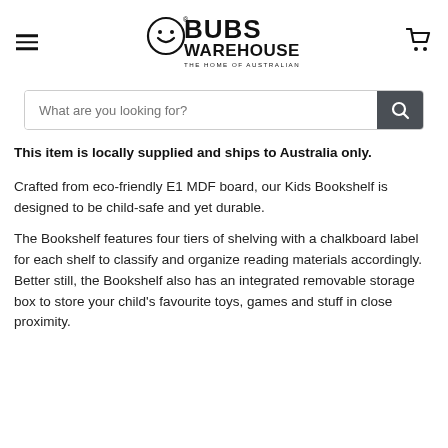[Figure (logo): Bubs Warehouse logo — circular face icon with smiley face, text BUBS WAREHOUSE, THE HOME OF AUSTRALIAN BRANDS]
What are you looking for?
This item is locally supplied and ships to Australia only.
Crafted from eco-friendly E1 MDF board, our Kids Bookshelf is designed to be child-safe and yet durable.
The Bookshelf features four tiers of shelving with a chalkboard label for each shelf to classify and organize reading materials accordingly. Better still, the Bookshelf also has an integrated removable storage box to store your child's favourite toys, games and stuff in close proximity.